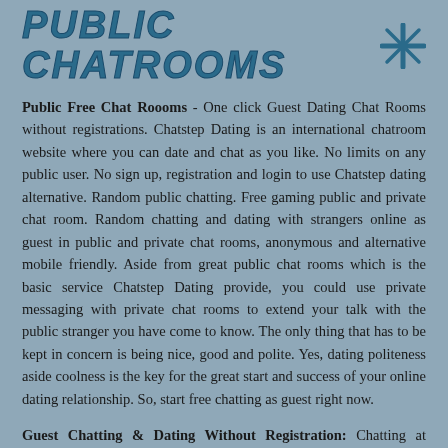PUBLIC CHATROOMS ✳
Public Free Chat Roooms - One click Guest Dating Chat Rooms without registrations. Chatstep Dating is an international chatroom website where you can date and chat as you like. No limits on any public user. No sign up, registration and login to use Chatstep dating alternative. Random public chatting. Free gaming public and private chat room. Random chatting and dating with strangers online as guest in public and private chat rooms, anonymous and alternative mobile friendly. Aside from great public chat rooms which is the basic service Chatstep Dating provide, you could use private messaging with private chat rooms to extend your talk with the public stranger you have come to know. The only thing that has to be kept in concern is being nice, good and polite. Yes, dating politeness aside coolness is the key for the great start and success of your online dating relationship. So, start free chatting as guest right now.
Guest Chatting & Dating Without Registration: Chatting at random alternative chat sites is a trend now. We like moving to different chatstep alternatives and not just stick to one. In such a case, being asked to free registration can be painful. So, here at Chatstep dating